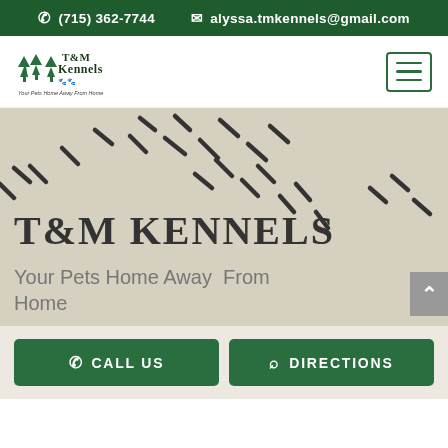(715) 362-7744  alyssa.tmkennels@gmail.com
[Figure (logo): T&M Kennels logo with pine trees and text 'Your Pets Home Away From Home']
T&M KENNELS
Your Pets Home Away From Home
[Figure (illustration): Dashed paw print trail across beige hero background]
Call Us
Directions